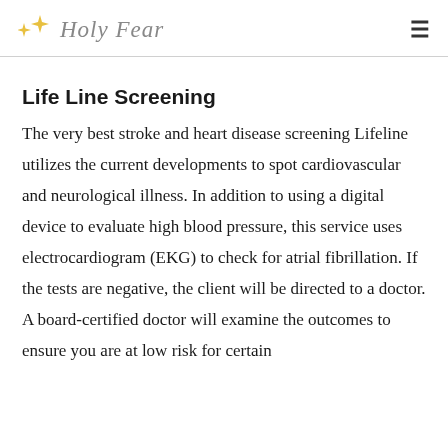Holy Fear
Life Line Screening
The very best stroke and heart disease screening Lifeline utilizes the current developments to spot cardiovascular and neurological illness. In addition to using a digital device to evaluate high blood pressure, this service uses electrocardiogram (EKG) to check for atrial fibrillation. If the tests are negative, the client will be directed to a doctor. A board-certified doctor will examine the outcomes to ensure you are at low risk for certain